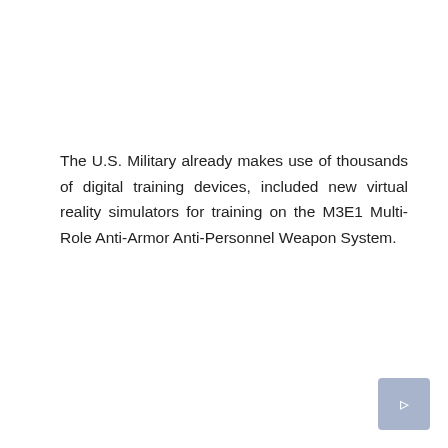The U.S. Military already makes use of thousands of digital training devices, included new virtual reality simulators for training on the M3E1 Multi-Role Anti-Armor Anti-Personnel Weapon System.